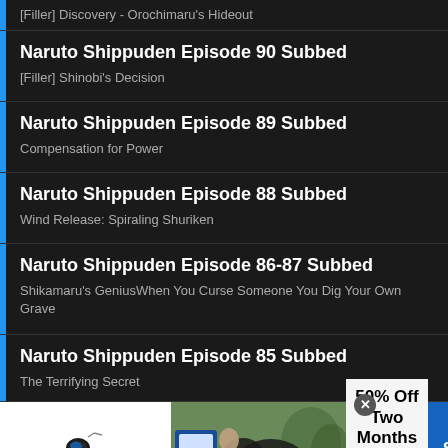[Filler] Discovery - Orochimaru's Hideout
Naruto Shippuden Episode 90 Subbed
[Filler] Shinobi's Decision
Naruto Shippuden Episode 89 Subbed
Compensation for Power
Naruto Shippuden Episode 88 Subbed
Wind Release: Spiraling Shuriken
Naruto Shippuden Episode 86-87 Subbed
Shikamaru's GeniusWhen You Curse Someone You Dig Your Own Grave
Naruto Shippuden Episode 85 Subbed
The Terrifying Secret
[Figure (screenshot): SmartPak advertisement banner: 50% Off Two Months of ColiCare, ColiCare Eligible Supplements, CODE: COLICARE10, Shop Now button]